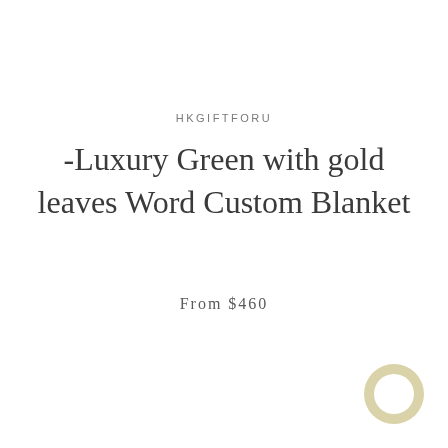HKGIFTFORU
-Luxury Green with gold leaves Word Custom Blanket
From $460